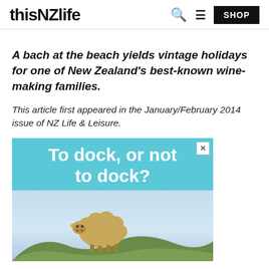thisNZlife
A bach at the beach yields vintage holidays for one of New Zealand's best-known wine-making families.
This article first appeared in the January/February 2014 issue of NZ Life & Leisure.
[Figure (illustration): Advertisement banner with cyan/teal background showing text 'To dock, or not to dock?' with a sheep standing in a paddock with hills in the background. Has a close (X) button in top right corner.]